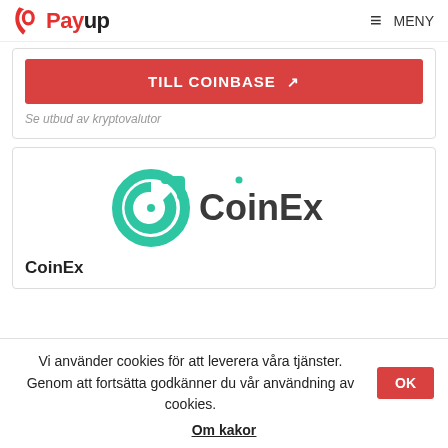Payup | MENY
[Figure (logo): Red button with white bold text: TILL COINBASE with external link icon]
Se utbud av kryptovalutor
[Figure (logo): CoinEx logo: teal circular arrow icon with CoinEx text]
CoinEx
Vi använder cookies för att leverera våra tjänster. Genom att fortsätta godkänner du vår användning av cookies.
Om kakor